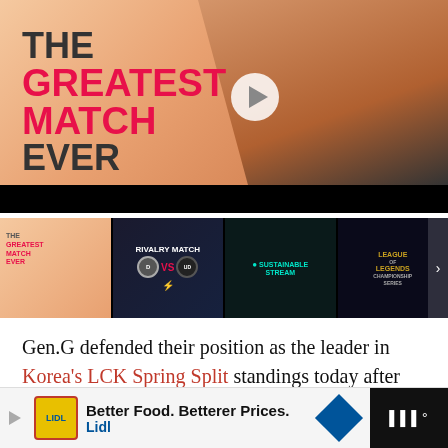[Figure (photo): Hero video thumbnail showing 'THE GREATEST MATCH EVER' text overlay on left with pink/red styling, and a young man with glasses (esports player) on right with finger near lips, with a play button in center]
[Figure (screenshot): Row of four video thumbnails: 1) 'THE GREATEST MATCH EVER' thumbnail, 2) 'RIVALRY MATCH' with D vs UD teams, 3) 'SUSTAINABLE STREAM' text on dark background, 4) League of Legends Championship Series logo]
Gen.G defended their position as the leader in Korea's LCK Spring Split standings today after their game against T1.
[Figure (other): Advertisement banner: Lidl ad with yellow logo, text 'Better Food. Betterer Prices. Lidl', blue diamond arrow, and dark right panel with audio/music icon]